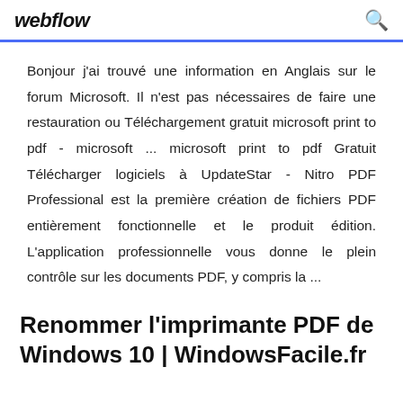webflow
Bonjour j'ai trouvé une information en Anglais sur le forum Microsoft. Il n'est pas nécessaires de faire une restauration ou Téléchargement gratuit microsoft print to pdf - microsoft ... microsoft print to pdf Gratuit Télécharger logiciels à UpdateStar - Nitro PDF Professional est la première création de fichiers PDF entièrement fonctionnelle et le produit édition. L'application professionnelle vous donne le plein contrôle sur les documents PDF, y compris la ...
Renommer l'imprimante PDF de Windows 10 | WindowsFacile.fr